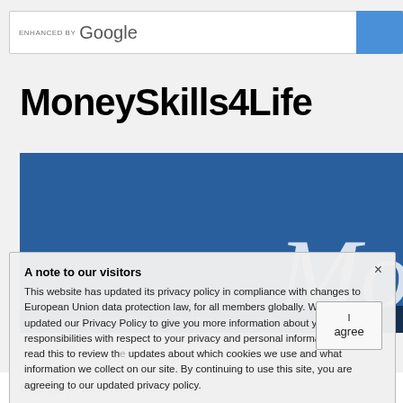[Figure (screenshot): Google enhanced search bar with blue search button on right]
MoneySkills4Life
[Figure (screenshot): Blue banner image with large italic 'Mo' text visible on right side, navigation bar at bottom showing Home, Covid-19 Journal, Wealth, Short Term Insurance, Fore...]
A note to our visitors
This website has updated its privacy policy in compliance with changes to European Union data protection law, for all members globally. We've also updated our Privacy Policy to give you more information about your rights and responsibilities with respect to your privacy and personal information. Please read this to review the updates about which cookies we use and what information we collect on our site. By continuing to use this site, you are agreeing to our updated privacy policy.
Category Archives: Make Money